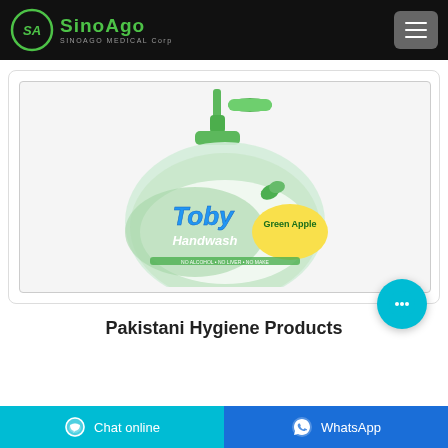SinoAgo - SinoAgo Medical Corp
[Figure (photo): Toby Handwash green apple scented liquid soap in a clear pump bottle with green pump top and green/yellow label]
Pakistani Hygiene Products
Chat online | WhatsApp